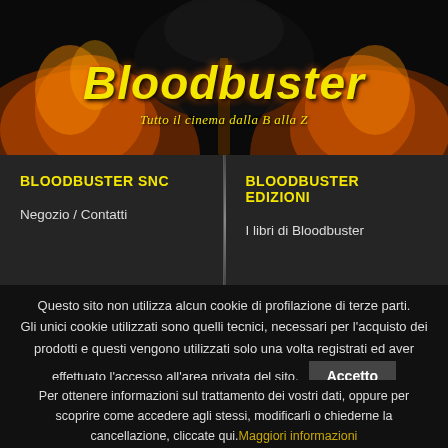[Figure (illustration): Bloodbuster website header banner with fire/explosion background, yellow stylized logo text 'Bloodbuster' and subtitle 'Tutto il cinema dalla B alla Z']
Bloodbuster
Tutto il cinema dalla B alla Z
BLOODBUSTER SNC
Negozio / Contatti
BLOODBUSTER EDIZIONI
I libri di Bloodbuster
Questo sito non utilizza alcun cookie di profilazione di terze parti. Gli unici cookie utilizzati sono quelli tecnici, necessari per l'acquisto dei prodotti e questi vengono utilizzati solo una volta registrati ed aver effettuato l'accesso all'area privata del sito.
Accetto
Per ottenere informazioni sul trattamento dei vostri dati, oppure per scoprire come accedere agli stessi, modificarli o chiederne la cancellazione, cliccate qui.
Maggiori informazioni